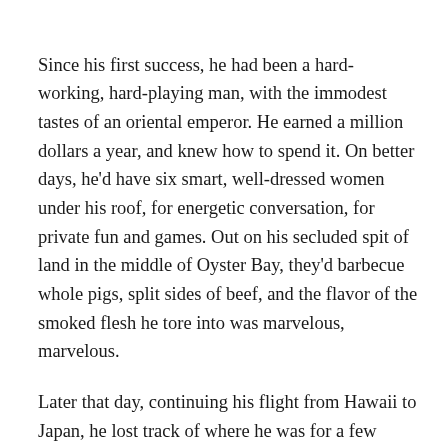Since his first success, he had been a hard-working, hard-playing man, with the immodest tastes of an oriental emperor. He earned a million dollars a year, and knew how to spend it. On better days, he'd have six smart, well-dressed women under his roof, for energetic conversation, for private fun and games. Out on his secluded spit of land in the middle of Oyster Bay, they'd barbecue whole pigs, split sides of beef, and the flavor of the smoked flesh he tore into was marvelous, marvelous.
Later that day, continuing his flight from Hawaii to Japan, he lost track of where he was for a few moments, and through his puffy, heavy lids, the woman bending over him with the pitcher of pink lemonade looked exactly like the love of his life, dead ten years that month of cancer. Dear, sweet, Ola, he almost said, but caught himself. Though his